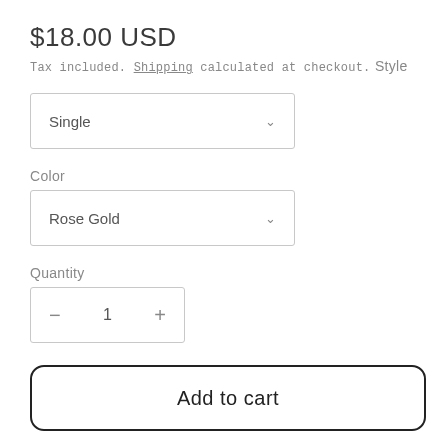$18.00 USD
Tax included. Shipping calculated at checkout.
Style
Single
Color
Rose Gold
Quantity
1
Add to cart